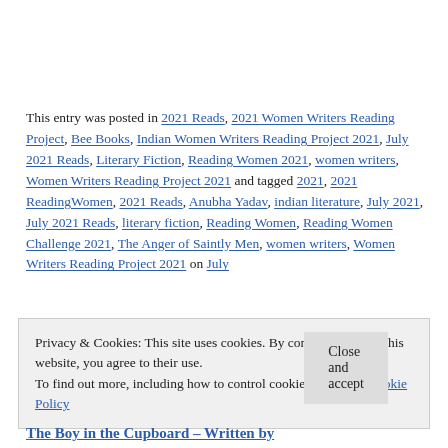This entry was posted in 2021 Reads, 2021 Women Writers Reading Project, Bee Books, Indian Women Writers Reading Project 2021, July 2021 Reads, Literary Fiction, Reading Women 2021, women writers, Women Writers Reading Project 2021 and tagged 2021, 2021 ReadingWomen, 2021 Reads, Anubha Yadav, indian literature, July 2021, July 2021 Reads, literary fiction, Reading Women, Reading Women Challenge 2021, The Anger of Saintly Men, women writers, Women Writers Reading Project 2021 on July
Privacy & Cookies: This site uses cookies. By continuing to use this website, you agree to their use.
To find out more, including how to control cookies, see here: Cookie Policy
Close and accept
The Boy in the Cupboard – Written by